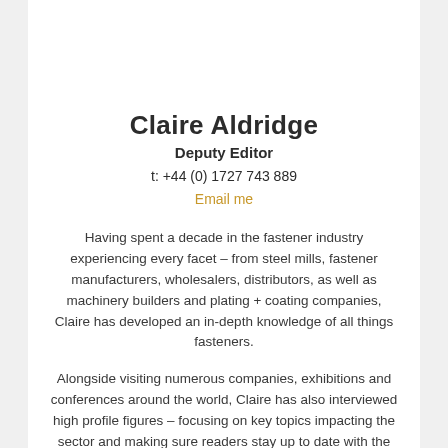Claire Aldridge
Deputy Editor
t: +44 (0) 1727 743 889
Email me
Having spent a decade in the fastener industry experiencing every facet – from steel mills, fastener manufacturers, wholesalers, distributors, as well as machinery builders and plating + coating companies, Claire has developed an in-depth knowledge of all things fasteners.
Alongside visiting numerous companies, exhibitions and conferences around the world, Claire has also interviewed high profile figures – focusing on key topics impacting the sector and making sure readers stay up to date with the latest developments within the industry.